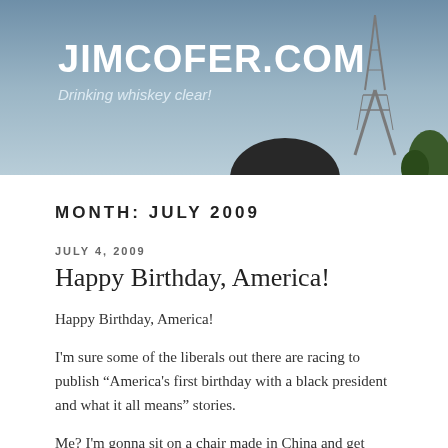[Figure (photo): Website header banner with blue-grey sky background, Eiffel Tower silhouette on the right, and a dark silhouette of a person's head at the bottom center-right. White bold text reads JIMCOFER.COM with tagline 'Drinking whiskey clear!']
JIMCOFER.COM
Drinking whiskey clear!
MONTH: JULY 2009
JULY 4, 2009
Happy Birthday, America!
Happy Birthday, America!

I'm sure some of the liberals out there are racing to publish “America's first birthday with a black president and what it all means” stories.

Me? I'm gonna sit on a chair made in China and get tanked on Irish beer and listen to English bands whilst